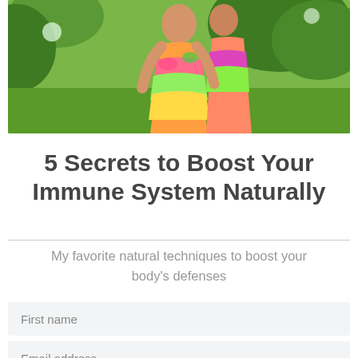[Figure (photo): Two women standing outdoors in colorful floral dresses with green garden background]
5 Secrets to Boost Your Immune System Naturally
My favorite natural techniques to boost your body's defenses
First name
Email address